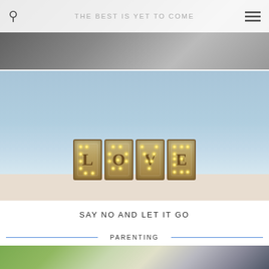THE BEST IS YET TO COME
[Figure (photo): Partial top photo, dark tones, appears to be a lifestyle/blog header image]
[Figure (photo): Photo of illuminated LOVE marquee letters on a shelf with blue wall background and decorative items]
SAY NO AND LET IT GO
PARENTING
[Figure (photo): Child on a swing with chains, green wall and climbing wall with coloured holds in background]